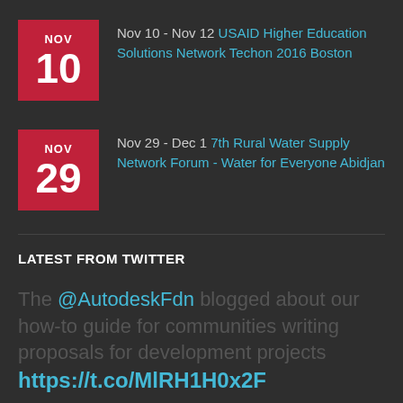Nov 10 - Nov 12 USAID Higher Education Solutions Network Techon 2016 Boston
Nov 29 - Dec 1 7th Rural Water Supply Network Forum - Water for Everyone Abidjan
LATEST FROM TWITTER
The @AutodeskFdn blogged about our how-to guide for communities writing proposals for development projects https://t.co/MIRH1H0x2F